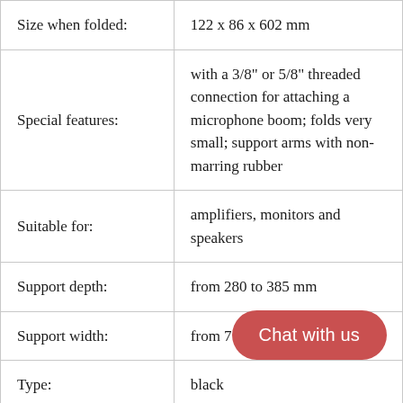| Size when folded: | 122 x 86 x 602 mm |
| Special features: | with a 3/8" or 5/8" threaded connection for attaching a microphone boom; folds very small; support arms with non-marring rubber |
| Suitable for: | amplifiers, monitors and speakers |
| Support depth: | from 280 to 385 mm |
| Support width: | from 7... |
| Type: | black |